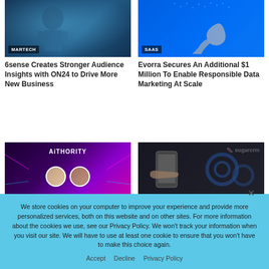[Figure (photo): MARTECH category article image - dark blue techy background with robot-like figure]
MARTECH
6sense Creates Stronger Audience Insights with ON24 to Drive More New Business
[Figure (photo): SAAS category article image - bright blue background with hand pointing at digital data]
SAAS
Evorra Secures An Additional $1 Million To Enable Responsible Data Marketing At Scale
[Figure (photo): AiTHORITY branded image with two circular avatar portraits on dark purple background]
[Figure (photo): SugarCRM branded image showing hand holding smartphone with gear icons]
We store cookies on your computer to improve your experience and provide more personalized services, both on this website and on other sites. For more information about the cookies we use, see our Privacy Policy. We won't track your information when you visit our site. We will have to use at least one cookie to ensure that you won't have to make this choice again.
Accept   Decline   Privacy Policy